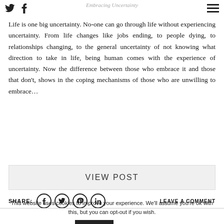Embracing Uncertainty
Life is one big uncertainty. No-one can go through life without experiencing uncertainty. From life changes like jobs ending, to people dying, to relationships changing, to the general uncertainty of not knowing what direction to take in life, being human comes with the experience of uncertainty. Now the difference between those who embrace it and those that don't, shows in the coping mechanisms of those who are unwilling to embrace…
VIEW POST
SHARE:  LEAVE A COMMENT
This website uses cookies to improve your experience. We'll assume you're ok with this, but you can opt-out if you wish. Accept Read More